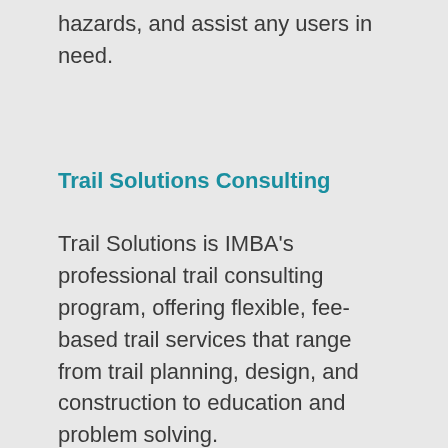hazards, and assist any users in need.
Trail Solutions Consulting
Trail Solutions is IMBA's professional trail consulting program, offering flexible, fee-based trail services that range from trail planning, design, and construction to education and problem solving.
IMBA in Washington D.C.
IMBA works with the federal government, the US Congress, and the top federal land-management